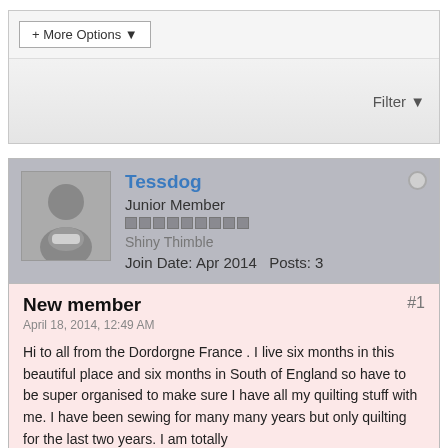[Figure (screenshot): A '+ More Options' dropdown button within a top toolbar area]
Filter
Tessdog
Junior Member
Shiny Thimble
Join Date: Apr 2014   Posts: 3
New member
#1
April 18, 2014, 12:49 AM
Hi to all from the Dordorgne France . I live six months in this beautiful place and six months in South of England so have to be super organised to make sure I have all my quilting stuff with me. I have been sewing for many many years but only quilting for the last two years. I am totally